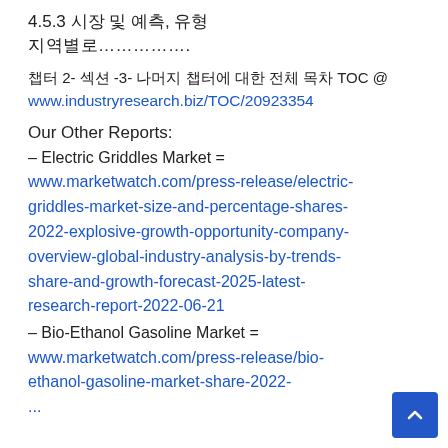4.5.3 시장 및 예측, 유형
지역별로…………….
챕터 2- 섹션 -3- 나머지 챕터에 대한 전체 목차 TOC @ www.industryresearch.biz/TOC/20923354
Our Other Reports:
– Electric Griddles Market = www.marketwatch.com/press-release/electric-griddles-market-size-and-percentage-shares-2022-explosive-growth-opportunity-company-overview-global-industry-analysis-by-trends-share-and-growth-forecast-2025-latest-research-report-2022-06-21
– Bio-Ethanol Gasoline Market = www.marketwatch.com/press-release/bio-ethanol-gasoline-market-share-2022-...